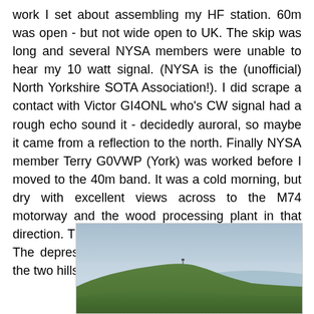work I set about assembling my HF station. 60m was open - but not wide open to UK. The skip was long and several NYSA members were unable to hear my 10 watt signal. (NYSA is the (unofficial) North Yorkshire SOTA Association!). I did scrape a contact with Victor GI4ONL who's CW signal had a rough echo sound it - decidedly auroral, so maybe it came from a reflection to the north. Finally NYSA member Terry G0VWP (York) was worked before I moved to the 40m band. It was a cold morning, but dry with excellent views across to the M74 motorway and the wood processing plant in that direction. The trig point on Hightown Hill was close. The depression that is Whitehill Moss in between the two hills, drops by around 30m:
[Figure (photo): Landscape photo showing a green hillside with a misty/hazy sky. A gentle hill rises from left to right with green grass. The sky is overcast and light grey-blue. A small marker or trig point may be visible on the hilltop.]